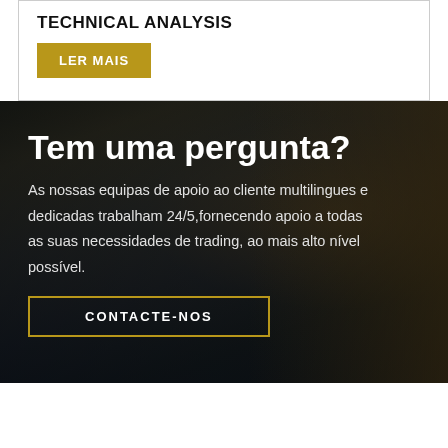TECHNICAL ANALYSIS
LER MAIS
Tem uma pergunta?
As nossas equipas de apoio ao cliente multilingues e dedicadas trabalham 24/5,fornecendo apoio a todas as suas necessidades de trading, ao mais alto nível possível.
CONTACTE-NOS